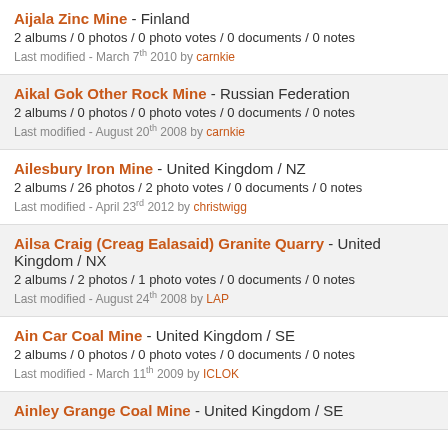Aijala Zinc Mine - Finland
2 albums / 0 photos / 0 photo votes / 0 documents / 0 notes
Last modified - March 7th 2010 by carnkie
Aikal Gok Other Rock Mine - Russian Federation
2 albums / 0 photos / 0 photo votes / 0 documents / 0 notes
Last modified - August 20th 2008 by carnkie
Ailesbury Iron Mine - United Kingdom / NZ
2 albums / 26 photos / 2 photo votes / 0 documents / 0 notes
Last modified - April 23rd 2012 by christwigg
Ailsa Craig (Creag Ealasaid) Granite Quarry - United Kingdom / NX
2 albums / 2 photos / 1 photo votes / 0 documents / 0 notes
Last modified - August 24th 2008 by LAP
Ain Car Coal Mine - United Kingdom / SE
2 albums / 0 photos / 0 photo votes / 0 documents / 0 notes
Last modified - March 11th 2009 by ICLOK
Ainley Grange Coal Mine - United Kingdom / SE